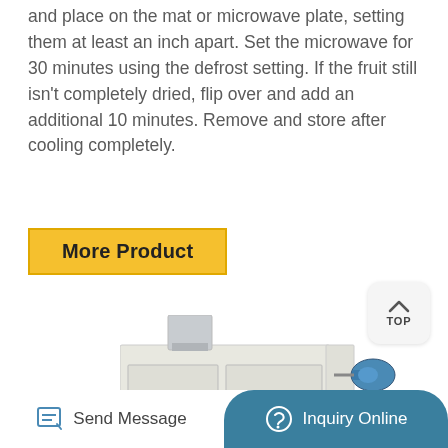and place on the mat or microwave plate, setting them at least an inch apart. Set the microwave for 30 minutes using the defrost setting. If the fruit still isn't completely dried, flip over and add an additional 10 minutes. Remove and store after cooling completely.
More Product
[Figure (photo): Industrial drying machine — large white metal cabinet with doors on the left side and multiple blue motor units mounted on the right side, with a duct/vent on top.]
Send Message
Inquiry Online